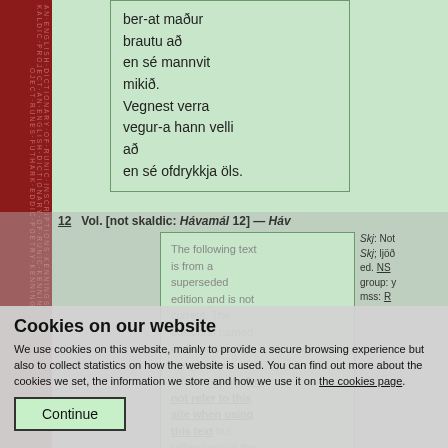[Figure (illustration): Vertical runic/decorative spine on the left side of the page, dark red background with runic-style text and patterns in muted red/green tones.]
ber-at maður brautu að
en sé mannvit mikið.
Vegnest verra vegur-a hann velli að
en sé ofdrykkja öls.
12   Vol. [not skaldic: Hávamál 12] — Háv...
Skj: Not...
Skj; ljöð...
ed. NS...
group: y...
mss: R...
The following text is from a superseded edition and is not current. The edition(s) named on this page. It is included for reference only. Do not refer to this site when using this text but rather consult the original edition (Skj where relevant).
Cookies on our website
We use cookies on this website, mainly to provide a secure browsing experience but also to collect statistics on how the website is used. You can find out more about the cookies we set, the information we store and how we use it on the cookies page.